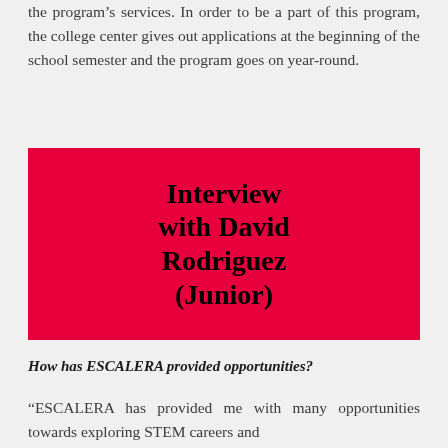the program’s services. In order to be a part of this program, the college center gives out applications at the beginning of the school semester and the program goes on year-round.
[Figure (other): Red background box with centered bold text reading 'Interview with David Rodriguez (Junior)']
How has ESCALERA provided opportunities?
“ESCALERA has provided me with many opportunities towards exploring STEM careers and